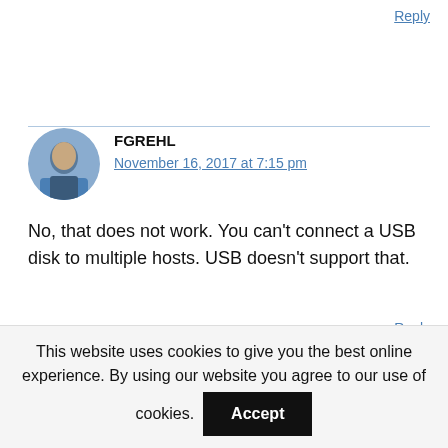Reply
FGREHL
November 16, 2017 at 7:15 pm
No, that does not work. You can't connect a USB disk to multiple hosts. USB doesn't support that.
Reply
BRIAN HOGAN
December 6, 2017 at 9:27 pm
This website uses cookies to give you the best online experience. By using our website you agree to our use of cookies.